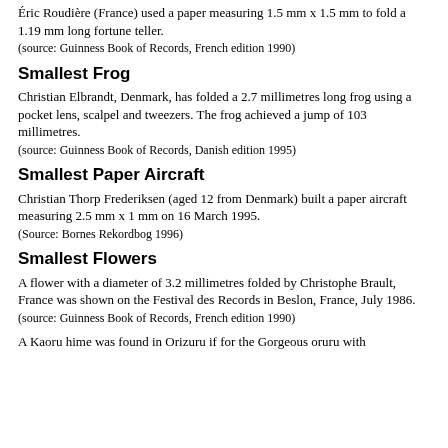Éric Roudière (France) used a paper measuring 1.5 mm x 1.5 mm to fold a 1.19 mm long fortune teller.
(source: Guinness Book of Records, French edition 1990)
Smallest Frog
Christian Elbrandt, Denmark, has folded a 2.7 millimetres long frog using a pocket lens, scalpel and tweezers. The frog achieved a jump of 103 millimetres.
(source: Guinness Book of Records, Danish edition 1995)
Smallest Paper Aircraft
Christian Thorp Frederiksen (aged 12 from Denmark) built a paper aircraft measuring 2.5 mm x 1 mm on 16 March 1995.
(Source: Bornes Rekordbog 1996)
Smallest Flowers
A flower with a diameter of 3.2 millimetres folded by Christophe Brault, France was shown on the Festival des Records in Beslon, France, July 1986.
(source: Guinness Book of Records, French edition 1990)
A Kaoru hime was found in Orizuru if for the Gorgeous oruru with